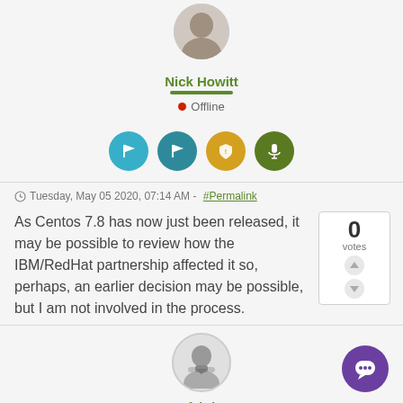[Figure (photo): User avatar photo of Nick Howitt (partially cropped at top)]
Nick Howitt
Offline
[Figure (illustration): Four circular badge icons: cyan flag, teal flag, orange shield, green microphone]
Tuesday, May 05 2020, 07:14 AM - #Permalink
As Centos 7.8 has now just been released, it may be possible to review how the IBM/RedHat partnership affected it so, perhaps, an earlier decision may be possible, but I am not involved in the process.
[Figure (illustration): Vote box showing 0 votes with up and down arrow buttons]
[Figure (illustration): Second user avatar (fabri) - grey silhouette placeholder]
fabri
[Figure (illustration): Purple chat bubble widget in bottom right corner]